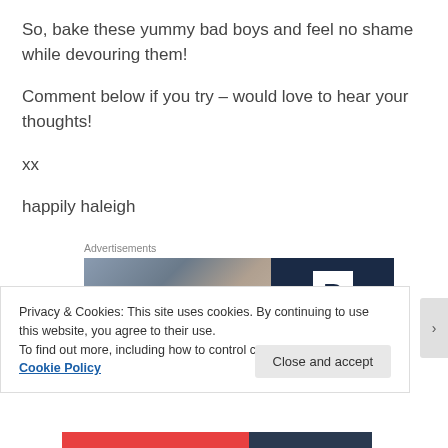So, bake these yummy bad boys and feel no shame while devouring them!
Comment below if you try – would love to hear your thoughts!
xx
happily haleigh
Advertisements
[Figure (photo): Advertisement image split in two halves: left side shows a blurred outdoor scene, right side shows a dark navy background with a white box containing the letter P]
Privacy & Cookies: This site uses cookies. By continuing to use this website, you agree to their use.
To find out more, including how to control cookies, see here: Cookie Policy
Close and accept